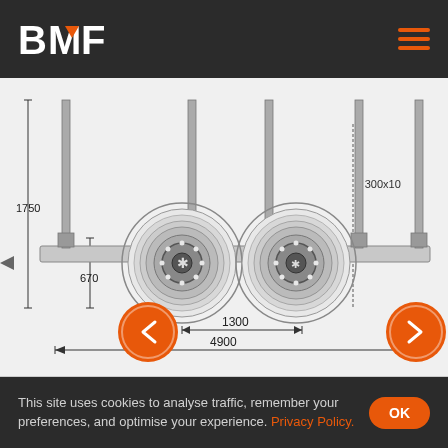BMF
[Figure (engineering-diagram): Technical engineering drawing of a trailer axle/bogie assembly showing front view with dimensions: 1750 (height), 670 (partial height), 1300 (wheel spacing), 4900 (total width), and 300x10 square section label. Two large wheels are visible with detailed hub/bolt patterns.]
This site uses cookies to analyse traffic, remember your preferences, and optimise your experience. Privacy Policy.